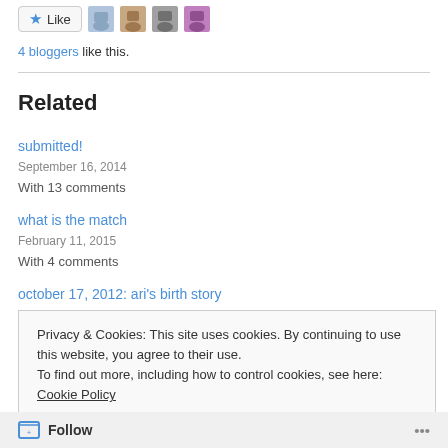[Figure (other): Like button with star icon and four blogger avatar thumbnails]
4 bloggers like this.
Related
submitted!
September 16, 2014
With 13 comments
what is the match
February 11, 2015
With 4 comments
october 17, 2012: ari's birth story
Privacy & Cookies: This site uses cookies. By continuing to use this website, you agree to their use.
To find out more, including how to control cookies, see here: Cookie Policy
Close and accept
Follow